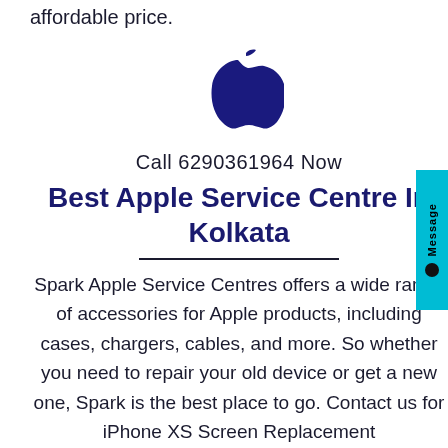affordable price.
[Figure (logo): Apple logo in dark navy/indigo color, centered on the page]
Call 6290361964 Now
Best Apple Service Centre In Kolkata
Spark Apple Service Centres offers a wide range of accessories for Apple products, including cases, chargers, cables, and more. So whether you need to repair your old device or get a new one, Spark is the best place to go. Contact us for iPhone XS Screen Replacement